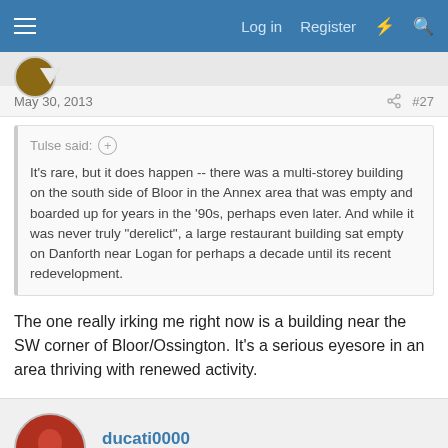Log in  Register
May 30, 2013  #27
Tulse said:
It's rare, but it does happen -- there was a multi-storey building on the south side of Bloor in the Annex area that was empty and boarded up for years in the '90s, perhaps even later. And while it was never truly "derelict", a large restaurant building sat empty on Danforth near Logan for perhaps a decade until its recent redevelopment.
The one really irking me right now is a building near the SW corner of Bloor/Ossington. It's a serious eyesore in an area thriving with renewed activity.
ducati0000
Active Member